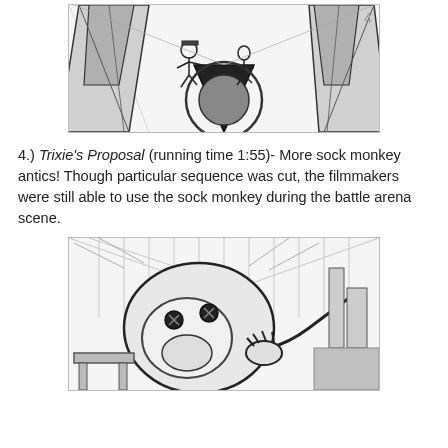[Figure (illustration): Storyboard sketch showing a top-down action scene with a figure in a hat running through a narrow corridor flanked by large angular structures, with dramatic perspective lines.]
4.) Trixie's Proposal (running time 1:55)- More sock monkey antics! Though particular sequence was cut, the filmmakers were still able to use the sock monkey during the battle arena scene.
[Figure (illustration): Storyboard sketch showing a close-up of a cartoon character (sock monkey) being held or grabbed, with dramatic shading and arena-like background structures.]